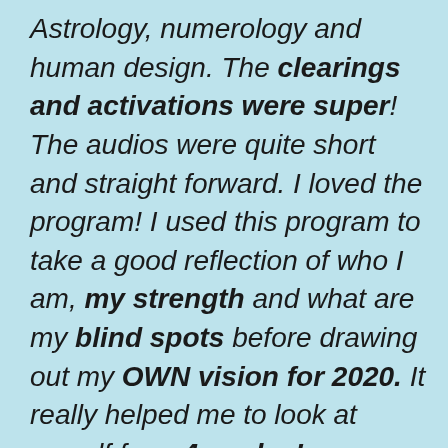Astrology, numerology and human design. The clearings and activations were super! The audios were quite short and straight forward. I loved the program! I used this program to take a good reflection of who I am, my strength and what are my blind spots before drawing out my OWN vision for 2020. It really helped me to look at myself from 4 angles!